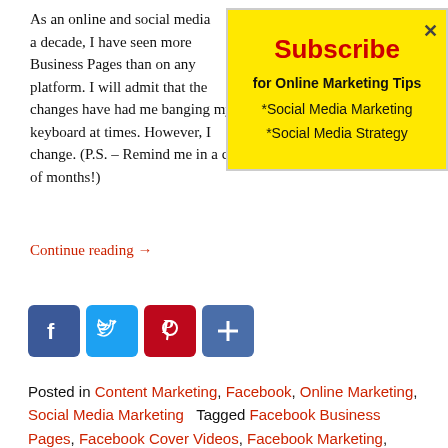As an online and social m... a decade, I have seen mo... Business Pages than on... platform. I will admit tha... changes have had me ba... keyboard at times. Howe... change. (P.S. – Remind m... of months!)
Continue reading →
[Figure (infographic): Yellow subscribe popup box with red bold 'Subscribe' heading, 'for Online Marketing Tips' subtitle, '*Social Media Marketing' and '*Social Media Strategy' bullet items, and an X close button in top right.]
[Figure (infographic): Social share buttons: Facebook (blue), Twitter (light blue), Pinterest (dark red), Plus/Add (blue)]
Posted in Content Marketing, Facebook, Online Marketing, Social Media Marketing   Tagged Facebook Business Pages, Facebook Cover Videos, Facebook Marketing, Facebook Tips for Page Managers